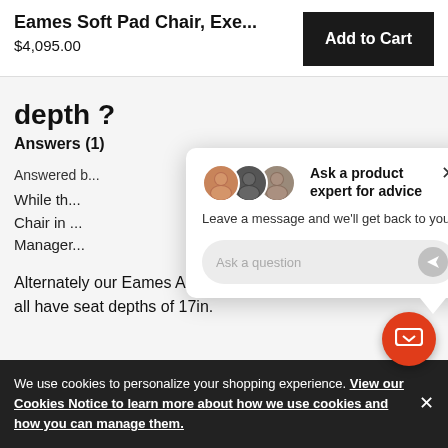Eames Soft Pad Chair, Exe...
$4,095.00
Add to Cart
depth ?
Answers (1)
Answered b...
While th... Chair in ... Manager...
[Figure (screenshot): Ask a product expert for advice popup with avatar images, subtitle text, and input field with send button]
Alternately our Eames Aluminum Group line all have seat depths of 17in.
We use cookies to personalize your shopping experience. View our Cookies Notice to learn more about how we use cookies and how you can manage them.